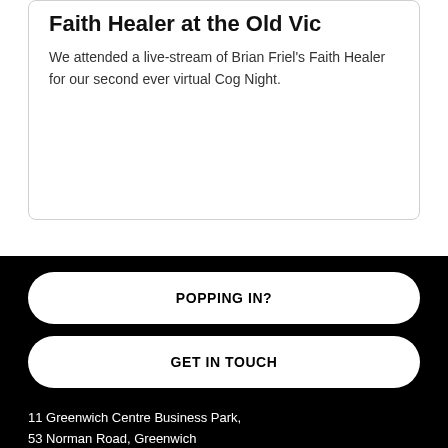Faith Healer at the Old Vic
We attended a live-stream of Brian Friel's Faith Healer for our second ever virtual Cog Night.
POPPING IN?
GET IN TOUCH
11 Greenwich Centre Business Park,
53 Norman Road, Greenwich